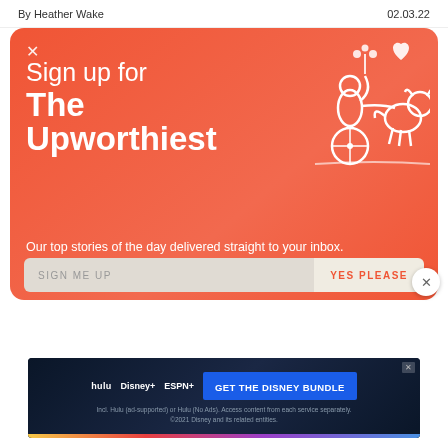By Heather Wake
02.03.22
[Figure (screenshot): Newsletter signup modal with coral/orange background. Close X button top left. Large white text: 'Sign up for The Upworthiest'. Subtext: 'Our top stories of the day delivered straight to your inbox.' Form bar at bottom with 'SIGN ME UP' input and 'YES PLEASE' button. White line illustration of person on bicycle with dog and heart top right.]
[Figure (screenshot): Disney Bundle advertisement banner on dark navy background. Shows Hulu, Disney+, ESPN+ logos and 'GET THE DISNEY BUNDLE' call to action button in blue. Fine print below. Colorful gradient stripe at bottom.]